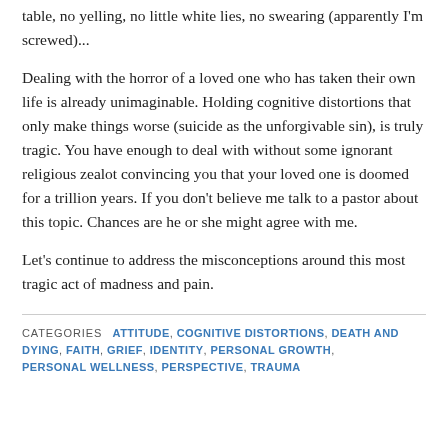table, no yelling, no little white lies, no swearing (apparently I'm screwed)...
Dealing with the horror of a loved one who has taken their own life is already unimaginable. Holding cognitive distortions that only make things worse (suicide as the unforgivable sin), is truly tragic. You have enough to deal with without some ignorant religious zealot convincing you that your loved one is doomed for a trillion years. If you don't believe me talk to a pastor about this topic. Chances are he or she might agree with me.
Let's continue to address the misconceptions around this most tragic act of madness and pain.
CATEGORIES  ATTITUDE, COGNITIVE DISTORTIONS, DEATH AND DYING, FAITH, GRIEF, IDENTITY, PERSONAL GROWTH, PERSONAL WELLNESS, PERSPECTIVE, TRAUMA